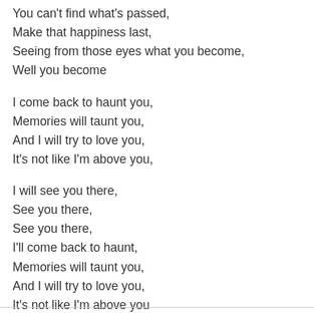You can't find what's passed,
Make that happiness last,
Seeing from those eyes what you become,
Well you become
I come back to haunt you,
Memories will taunt you,
And I will try to love you,
It's not like I'm above you,
I will see you there,
See you there,
See you there,
I'll come back to haunt,
Memories will taunt you,
And I will try to love you,
It's not like I'm above you